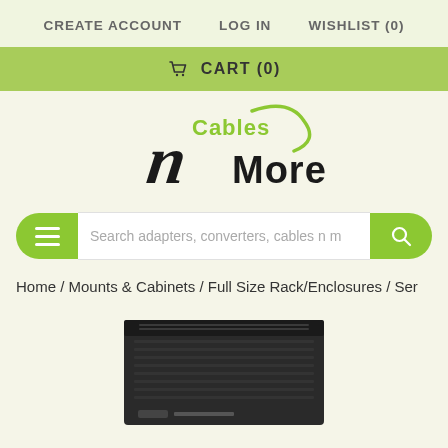CREATE ACCOUNT   LOG IN   WISHLIST (0)
CART (0)
[Figure (logo): Cables n More logo with green swoosh and stylized italic n]
Search adapters, converters, cables n m
Home / Mounts & Cabinets / Full Size Rack/Enclosures / Ser
[Figure (photo): Black server rack enclosure cabinet product photo, partially visible at bottom of page]